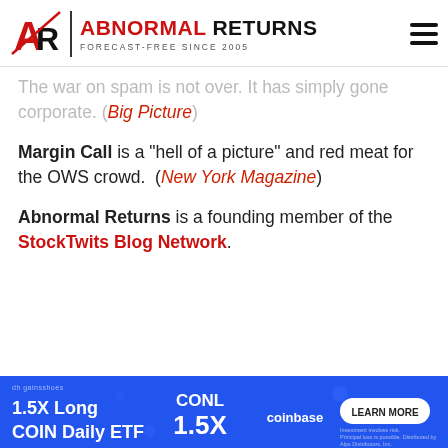Abnormal Returns — Forecast-Free Since 2005
The war on spam is not over. It has simply gone corporate. (Big Picture)
Margin Call is a "hell of a picture" and red meat for the OWS crowd. (New York Magazine)
Abnormal Returns is a founding member of the StockTwits Blog Network.
[Figure (infographic): Blue advertisement banner for 1.5X Long COIN Daily ETF (CONL) featuring coinbase logo and a Learn More button]